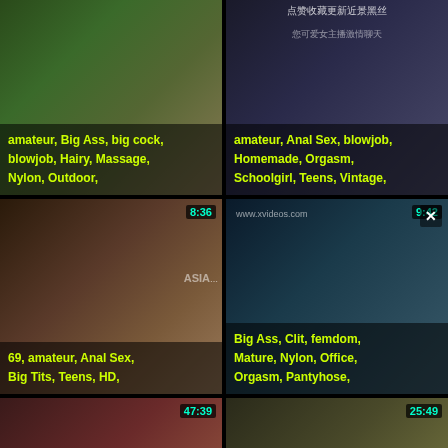[Figure (screenshot): Video thumbnail grid showing adult video content with tags and duration timers. Row 1: two thumbnails without visible timers. Row 2: thumbnails with 8:36 and 9:42 timers. Row 3: thumbnails with 47:39 and 25:49 timers. Row 4: partial thumbnails with 1:02:01 and 56:43 timers. Each thumbnail has yellow-green category tags overlaid at the bottom.]